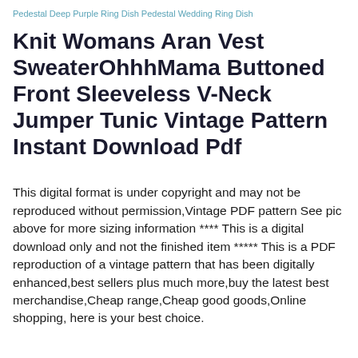Pedestal Deep Purple Ring Dish Pedestal Wedding Ring Dish
Knit Womans Aran Vest SweaterOhhhMama Buttoned Front Sleeveless V-Neck Jumper Tunic Vintage Pattern Instant Download Pdf
This digital format is under copyright and may not be reproduced without permission,Vintage PDF pattern See pic above for more sizing information **** This is a digital download only and not the finished item ***** This is a PDF reproduction of a vintage pattern that has been digitally enhanced,best sellers plus much more,buy the latest best merchandise,Cheap range,Cheap good goods,Online shopping, here is your best choice.